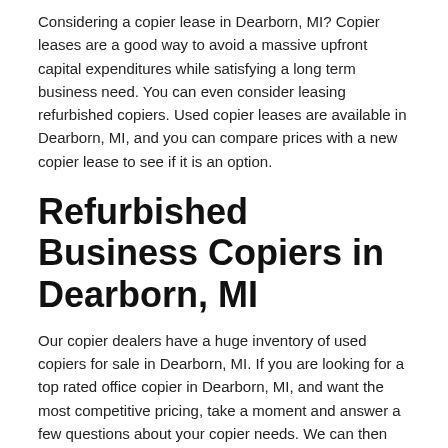Considering a copier lease in Dearborn, MI? Copier leases are a good way to avoid a massive upfront capital expenditures while satisfying a long term business need. You can even consider leasing refurbished copiers. Used copier leases are available in Dearborn, MI, and you can compare prices with a new copier lease to see if it is an option.
Refurbished Business Copiers in Dearborn, MI
Our copier dealers have a huge inventory of used copiers for sale in Dearborn, MI. If you are looking for a top rated office copier in Dearborn, MI, and want the most competitive pricing, take a moment and answer a few questions about your copier needs. We can then make some recommendations to see if a pre-owned office copier makes sense for you. We have refurbished copiers in Dearborn, MI